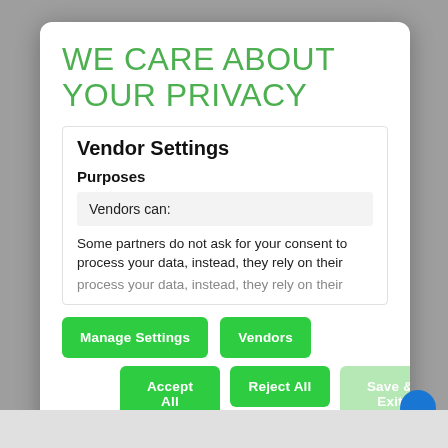WE CARE ABOUT YOUR PRIVACY
Vendor Settings
Purposes
Vendors can:
Some partners do not ask for your consent to process your data, instead, they rely on their
Manage Settings
Vendors
Accept All
Reject All
Save & Exit